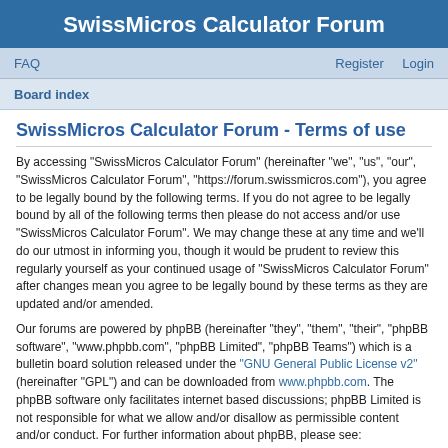SwissMicros Calculator Forum
FAQ   Register   Login
Board index
SwissMicros Calculator Forum - Terms of use
By accessing “SwissMicros Calculator Forum” (hereinafter “we”, “us”, “our”, “SwissMicros Calculator Forum”, “https://forum.swissmicros.com”), you agree to be legally bound by the following terms. If you do not agree to be legally bound by all of the following terms then please do not access and/or use “SwissMicros Calculator Forum”. We may change these at any time and we’ll do our utmost in informing you, though it would be prudent to review this regularly yourself as your continued usage of “SwissMicros Calculator Forum” after changes mean you agree to be legally bound by these terms as they are updated and/or amended.
Our forums are powered by phpBB (hereinafter “they”, “them”, “their”, “phpBB software”, “www.phpbb.com”, “phpBB Limited”, “phpBB Teams”) which is a bulletin board solution released under the “GNU General Public License v2” (hereinafter “GPL”) and can be downloaded from www.phpbb.com. The phpBB software only facilitates internet based discussions; phpBB Limited is not responsible for what we allow and/or disallow as permissible content and/or conduct. For further information about phpBB, please see: https://www.phpbb.com/.